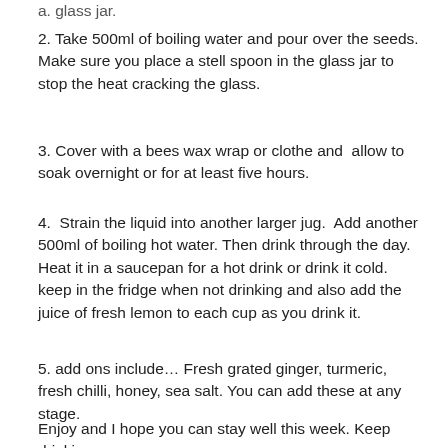a. glass jar.
2. Take 500ml of boiling water and pour over the seeds. Make sure you place a stell spoon in the glass jar to stop the heat cracking the glass.
3. Cover with a bees wax wrap or clothe and  allow to soak overnight or for at least five hours.
4.  Strain the liquid into another larger jug.  Add another 500ml of boiling hot water. Then drink through the day. Heat it in a saucepan for a hot drink or drink it cold. keep in the fridge when not drinking and also add the juice of fresh lemon to each cup as you drink it.
5. add ons include… Fresh grated ginger, turmeric, fresh chilli, honey, sea salt. You can add these at any stage.
Enjoy and I hope you can stay well this week. Keep drinking